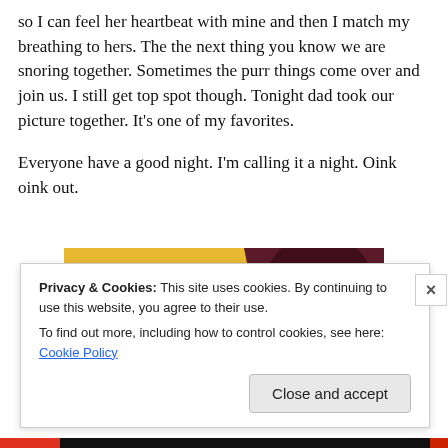so I can feel her heartbeat with mine and then I match my breathing to hers. The the next thing you know we are snoring together. Sometimes the purr things come over and join us. I still get top spot though. Tonight dad took our picture together. It's one of my favorites.
Everyone have a good night. I'm calling it a night. Oink oink out.
[Figure (photo): A photo showing a yellow/orange background with a dark brown object partially visible, appearing to be a pet resting on a surface.]
Privacy & Cookies: This site uses cookies. By continuing to use this website, you agree to their use.
To find out more, including how to control cookies, see here: Cookie Policy
Close and accept